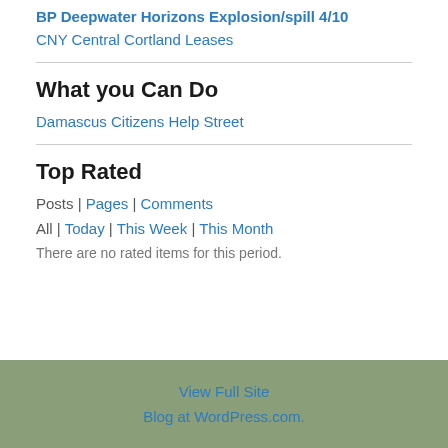BP Deepwater Horizons Explosion/spill 4/10
CNY Central Cortland Leases
What you Can Do
Damascus Citizens Help Street
Top Rated
Posts | Pages | Comments
All | Today | This Week | This Month
There are no rated items for this period.
View Full Site
Blog at WordPress.com.